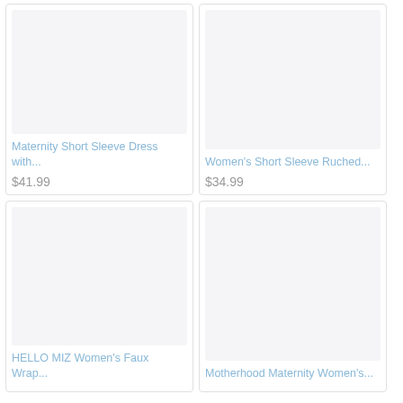[Figure (photo): Product image placeholder for Maternity Short Sleeve Dress]
Maternity Short Sleeve Dress with...
$41.99
[Figure (photo): Product image placeholder for Women's Short Sleeve Ruched]
Women's Short Sleeve Ruched...
$34.99
[Figure (photo): Product image placeholder for HELLO MIZ Women's Faux Wrap]
HELLO MIZ Women's Faux Wrap...
[Figure (photo): Product image placeholder for Motherhood Maternity Women's]
Motherhood Maternity Women's...